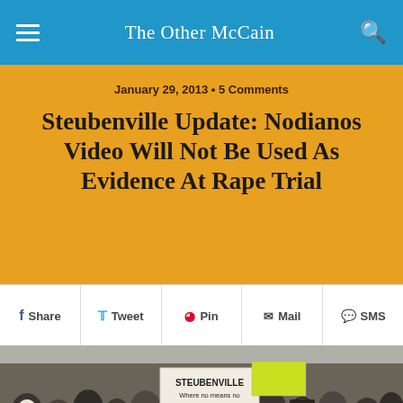The Other McCain
January 29, 2013 • 5 Comments
Steubenville Update: Nodianos Video Will Not Be Used As Evidence At Rape Trial
Share  Tweet  Pin  Mail  SMS
[Figure (photo): Crowd of protesters, some wearing Guy Fawkes masks, one holding a sign reading 'STEUBENVILLE Where no means no and unconscious means YES']